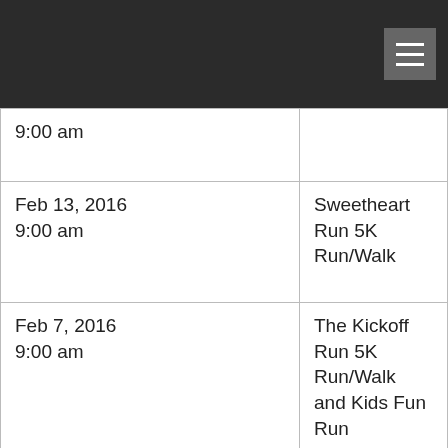| Date/Time | Event |
| --- | --- |
| 9:00 am |  |
| Feb 13, 2016
9:00 am | Sweetheart Run 5K Run/Walk |
| Feb 7, 2016
9:00 am | The Kickoff Run 5K Run/Walk and Kids Fun Run |
| Jan 24, 2016
8:00 am | Groundhog Run
10K results |
| Jan 24, 2016
8:00 am | Groundhog Run
10K Team Results |